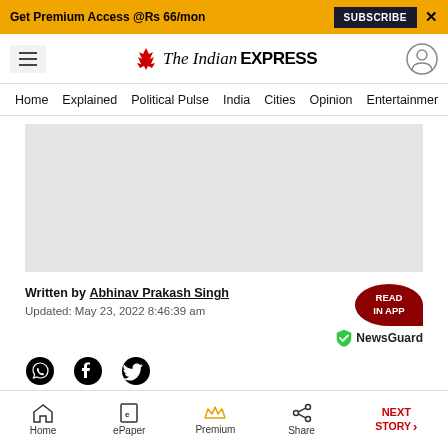Get Premium Access @Rs 66/mon  SUBSCRIBE  X
The Indian EXPRESS — Home, Explained, Political Pulse, India, Cities, Opinion, Entertainment
[Figure (screenshot): Gray placeholder image for article]
Written by Abhinav Prakash Singh
Updated: May 23, 2022 8:46:39 am
[Figure (other): NewsGuard badge with green shield checkmark]
[Figure (other): Social share icons: WhatsApp, Facebook, Twitter]
Home  ePaper  Premium  Share  NEXT STORY →